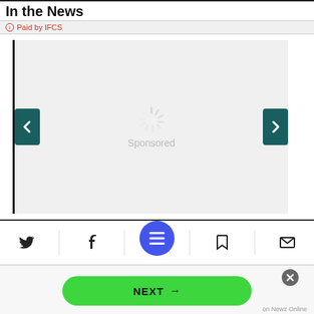In the News
Paid by IFCS
[Figure (screenshot): Sponsored content carousel with loading spinner, left and right navigation buttons, and 'Sponsored' label in the center]
[Figure (screenshot): Navigation bar with Twitter, Facebook, menu (hamburger), bookmark, and email icons. Center button is a blue circle with hamburger menu icon.]
[Figure (screenshot): NEXT button bar with green rounded button showing 'NEXT →', a close (X) button, and 'on Newz Online' label]